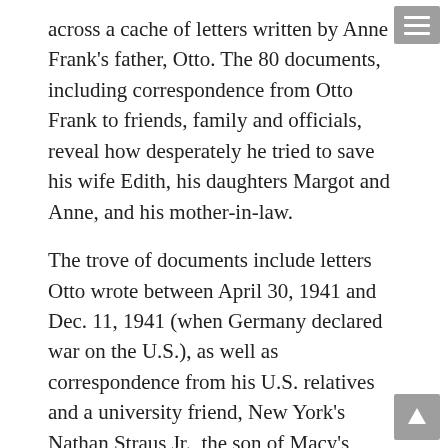across a cache of letters written by Anne Frank's father, Otto. The 80 documents, including correspondence from Otto Frank to friends, family and officials, reveal how desperately he tried to save his wife Edith, his daughters Margot and Anne, and his mother-in-law.
The trove of documents include letters Otto wrote between April 30, 1941 and Dec. 11, 1941 (when Germany declared war on the U.S.), as well as correspondence from his U.S. relatives and a university friend, New York's Nathan Straus Jr., the son of Macy's department store's founder. The Franks began their two years in hiding in an attic above Otto's office in July 1942, until they were discovered and transported to Auschwitz.
The spine- tingling story of No Asylum is told by